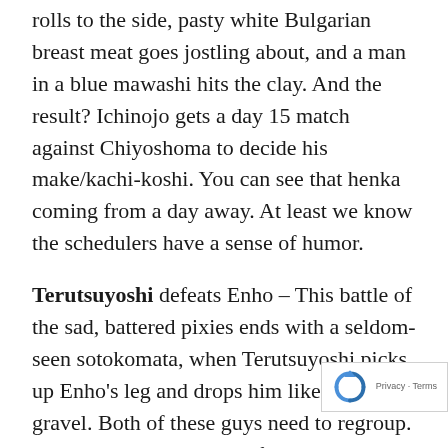rolls to the side, pasty white Bulgarian breast meat goes jostling about, and a man in a blue mawashi hits the clay. And the result? Ichinojo gets a day 15 match against Chiyoshoma to decide his make/kachi-koshi. You can see that henka coming from a day away. At least we know the schedulers have a sense of humor.
Terutsuyoshi defeats Enho – This battle of the sad, battered pixies ends with a seldom-seen sotokomata, when Terutsuyoshi picks up Enho's leg and drops him like a sack of gravel. Both of these guys need to regroup. But at least they are out of the maelstrom that will be the Hatsu joi-jin.
Tochinoshin defeats Kaisei – I have to thin...